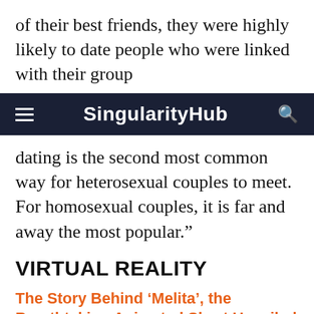of their best friends, they were highly likely to date people who were linked with their group
SingularityHub
dating is the second most common way for heterosexual couples to meet. For homosexual couples, it is far and away the most popular.”
VIRTUAL REALITY
The Story Behind ‘Melita’, the Breathtaking Animated Short Unveiled at Oculus Connect
Janko Roettgers | Variety
“ ‘Melita’ features a number of wide shots followed by dramatic camera movement to take you up and close to the action, or transition from one scene to another. Motion also plays a big part within individual scenes